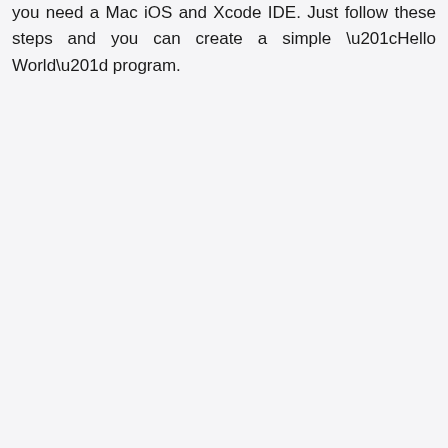you need a Mac iOS and Xcode IDE. Just follow these steps and you can create a simple “Hello World” program.